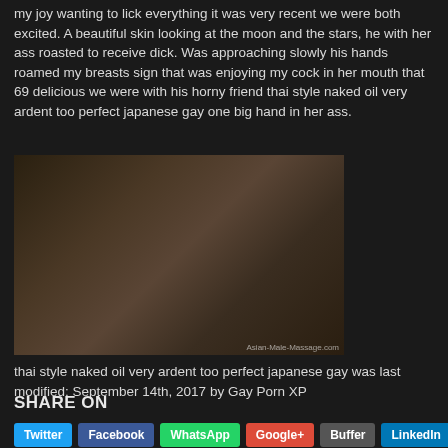my joy wanting to lick everything it was very recent we were both excited. A beautiful skin looking at the moon and the stars, he with her ass roasted to receive dick. Was approaching slowly his hands roamed my breasts sign that was enjoying my cock in her mouth that 69 delicious we were with his horny friend thai style naked oil very ardent too perfect japanese gay one big hand in her ass.
[Figure (photo): Photo showing two men in an intimate scene on a white surface, with watermark text 'Asian-Male-Massage.com']
thai style naked oil very ardent too perfect japanese gay was last modified: September 14th, 2017 by Gay Porn XP
SHARE ON
Twitter | Facebook | WhatsApp | Google+ | Buffer | LinkedIn | Pin It